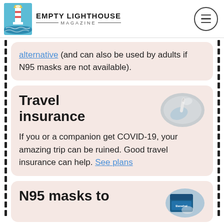Empty Lighthouse Magazine
alternative (and can also be used by adults if N95 masks are not available).
Travel insurance
[Figure (photo): Hand holding a COVID-19 test, oval/elliptical crop]
If you or a companion get COVID-19, your amazing trip can be ruined. Good travel insurance can help. See plans
N95 masks to
[Figure (photo): N95 mask product packaging, Benehal brand, oval/elliptical crop]